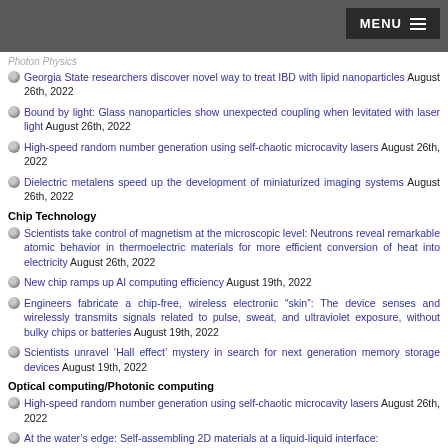MENU
Photon Physics
Georgia State researchers discover novel way to treat IBD with lipid nanoparticles August 26th, 2022
Bound by light: Glass nanoparticles show unexpected coupling when levitated with laser light August 26th, 2022
High-speed random number generation using self-chaotic microcavity lasers August 26th, 2022
Dielectric metalens speed up the development of miniaturized imaging systems August 26th, 2022
Chip Technology
Scientists take control of magnetism at the microscopic level: Neutrons reveal remarkable atomic behavior in thermoelectric materials for more efficient conversion of heat into electricity August 26th, 2022
New chip ramps up AI computing efficiency August 19th, 2022
Engineers fabricate a chip-free, wireless electronic “skin”: The device senses and wirelessly transmits signals related to pulse, sweat, and ultraviolet exposure, without bulky chips or batteries August 19th, 2022
Scientists unravel ‘Hall effect’ mystery in search for next generation memory storage devices August 19th, 2022
Optical computing/Photonic computing
High-speed random number generation using self-chaotic microcavity lasers August 26th, 2022
At the water's edge: Self-assembling 2D materials at a liquid-liquid interface: